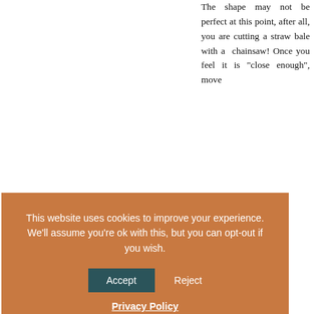The shape may not be perfect at this point, after all, you are cutting a straw bale with a chainsaw! Once you feel it is "close enough", move
Ready for plaster
were not there. A out the shape of mesh to the ba stitches of your sewing. This is both for the strength of the
[Figure (screenshot): Cookie consent overlay with orange/brown background. Text reads: 'This website uses cookies to improve your experience. We'll assume you're ok with this, but you can opt-out if you wish.' with Accept and Reject buttons and Privacy Policy link.]